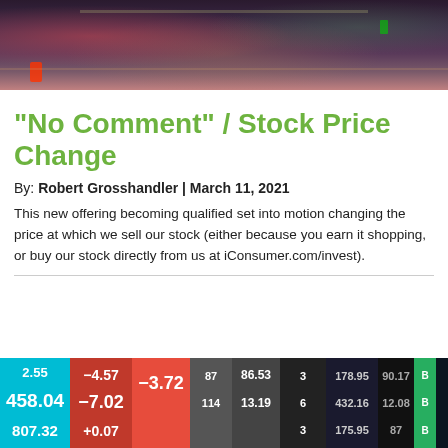[Figure (photo): Dark atmospheric photo of what appears to be an industrial or urban nighttime scene with red and green lights]
"No Comment" / Stock Price Change
By: Robert Grosshandler | March 11, 2021
This new offering becoming qualified set into motion changing the price at which we sell our stock (either because you earn it shopping, or buy our stock directly from us at iConsumer.com/invest).
[Figure (photo): Stock market ticker board showing various stock prices and changes including numbers like 458.04, -7.02, -3.72, 86.53, 432.16, etc. with colored backgrounds]